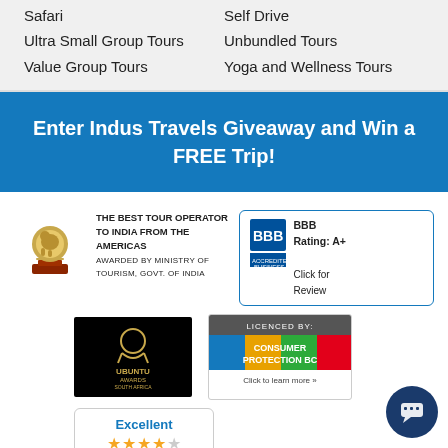Safari
Self Drive
Ultra Small Group Tours
Unbundled Tours
Value Group Tours
Yoga and Wellness Tours
Enter Indus Travels Giveaway and Win a FREE Trip!
[Figure (logo): Best Tour Operator to India from the Americas award trophy with elephant figurine]
THE BEST TOUR OPERATOR TO INDIA FROM THE AMERICAS
AWARDED BY MINISTRY OF TOURISM, GOVT. OF INDIA
[Figure (logo): BBB Accredited Business logo with A+ rating and Click for Review text]
[Figure (logo): Ubuntu Awards South Africa black badge with gold globe icon]
[Figure (logo): Consumer Protection BC licence badge]
[Figure (infographic): Excellent rating box showing 4.5 average with star rating]